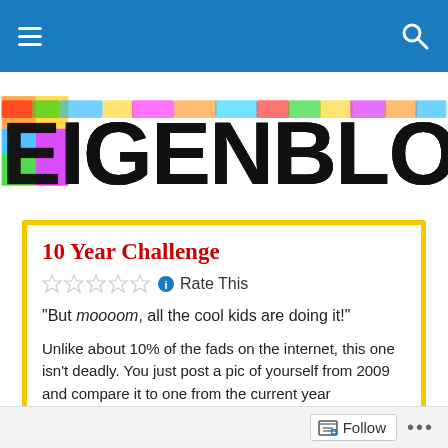Navigation bar with hamburger menu and search icon
[Figure (logo): EIGENBLOGGER logo in large colorful decorative lettering with rainbow-colored segments on black bold letters]
10 Year Challenge
Rate This
“But moooom, all the cool kids are doing it!”
Unlike about 10% of the fads on the internet, this one isn’t deadly. You just post a pic of yourself from 2009 and compare it to one from the current year
Follow